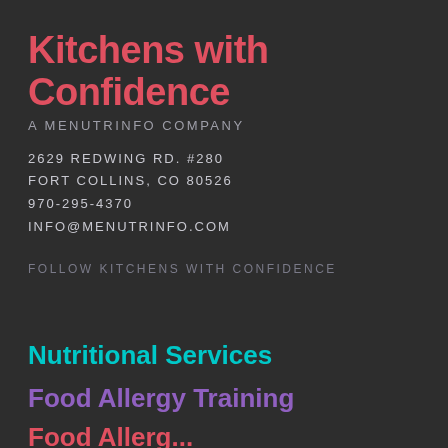Kitchens with Confidence
A MENUTRINFO COMPANY
2629 REDWING RD. #280
FORT COLLINS, CO 80526
970-295-4370
INFO@MENUTRINFO.COM
FOLLOW KITCHENS WITH CONFIDENCE
Nutritional Services
Food Allergy Training